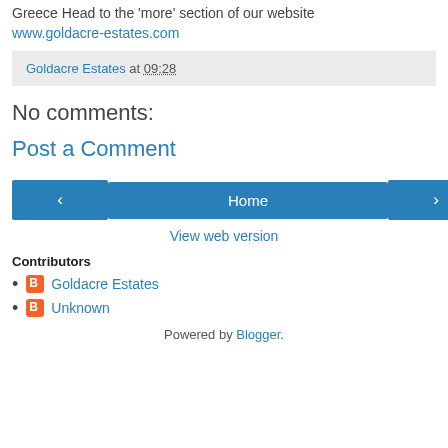Greece Head to the 'more' section of our website www.goldacre-estates.com
Goldacre Estates at 09:28
No comments:
Post a Comment
< Home >
View web version
Contributors
Goldacre Estates
Unknown
Powered by Blogger.